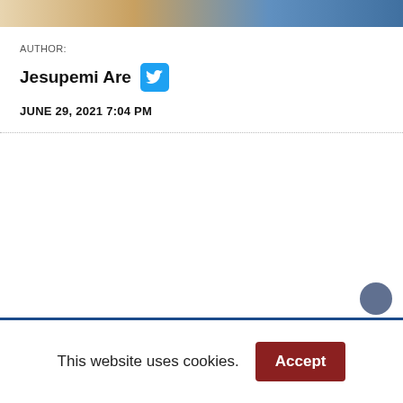[Figure (photo): Partial photo strip at top of page showing people working]
AUTHOR:
Jesupemi Are
JUNE 29, 2021 7:04 PM
This website uses cookies.
Accept